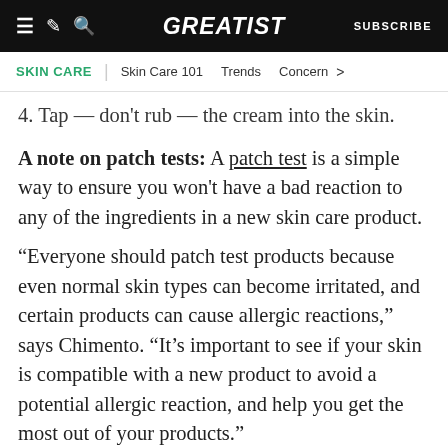GREATIST | SUBSCRIBE
SKIN CARE | Skin Care 101  Trends  Concern >
4. Tap — don't rub — the cream into the skin.
A note on patch tests: A patch test is a simple way to ensure you won't have a bad reaction to any of the ingredients in a new skin care product.
“Everyone should patch test products because even normal skin types can become irritated, and certain products can cause allergic reactions,” says Chimento. “It’s important to see if your skin is compatible with a new product to avoid a potential allergic reaction, and help you get the most out of your products.”